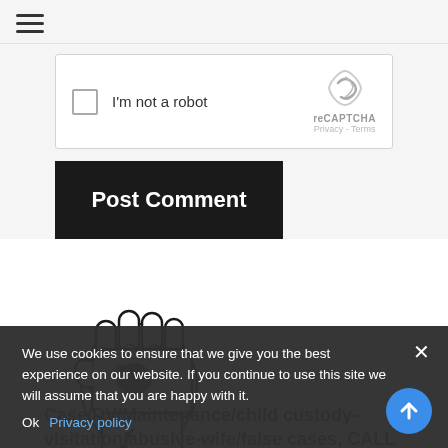[Figure (screenshot): reCAPTCHA widget with checkbox and 'I'm not a robot' label, reCAPTCHA logo, Privacy and Terms links]
[Figure (illustration): Black and white illustrated raised fist]
Case/DV/Maintenance/child custody-visitation/abusive-wife/false cases, CALL
We use cookies to ensure that we give you the best experience on our website. If you continue to use this site we will assume that you are happy with it.
Ok   Privacy policy